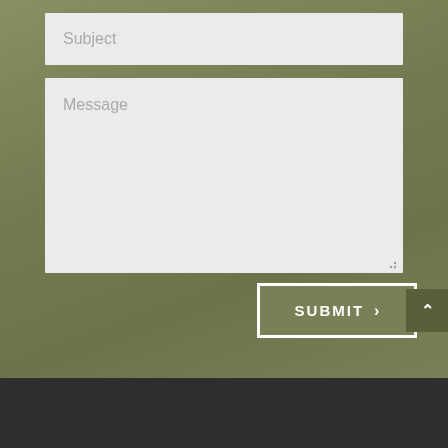[Figure (screenshot): Web contact form with Subject input field, Message textarea, and a SUBMIT button with right arrow chevron, set against an olive green background, with a dark charcoal footer bar at the bottom and a back-to-top arrow button at the right.]